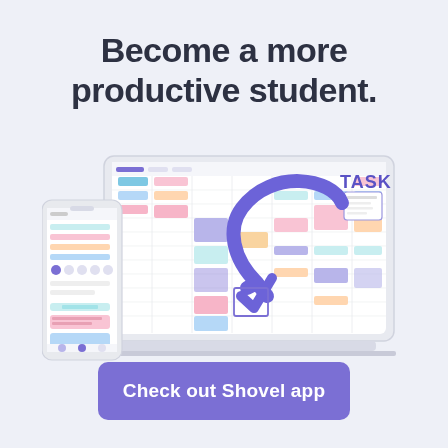Become a more productive student.
[Figure (screenshot): Screenshot of Shovel app shown on a laptop and a smartphone. The laptop displays a colorful calendar/planner interface with pastel-colored task blocks. A smartphone shows a mobile version of the same app. A large purple arrow points to a 'TASK' label with a checkmark, indicating task management functionality.]
Check out Shovel app